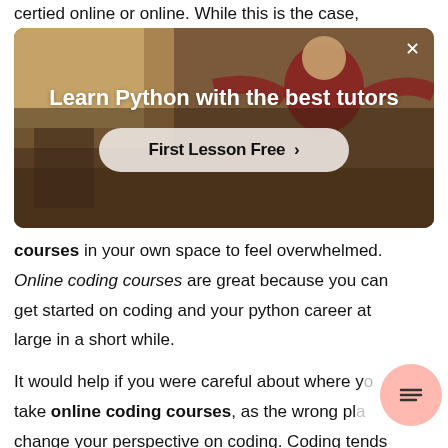certied online or online. While this is the case,
[Figure (screenshot): Advertisement banner for learning Python with tutors. Shows a person in a room with warm lighting. Text overlay reads 'Learn Python with the best tutors' and a button 'First Lesson Free >' with a close X button in top right.]
courses in your own space to feel overwhelmed. Online coding courses are great because you can get started on coding and your python career at large in a short while.
It would help if you were careful about where you take online coding courses, as the wrong place can change your perspective on coding. Coding tends